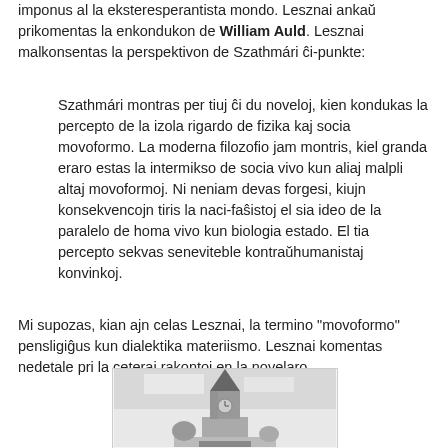imponus al la eksteresperantista mondo. Lesznai ankaŭ prikomentas la enkondukon de William Auld. Lesznai malkonsentas la perspektivon de Szathmári ĉi-punkte:
Szathmári montras per tiuj ĉi du noveloj, kien kondukas la percepto de la izola rigardo de fizika kaj socia movoformo. La moderna filozofio jam montris, kiel granda eraro estas la intermikso de socia vivo kun aliaj malpli altaj movoformoj. Ni neniam devas forgesi, kiujn konsekvencojn tiris la naci-faŝistoj el sia ideo de la paralelo de homa vivo kun biologia estado. El tia percepto sekvas seneviteble kontraŭhumanistaj konvinkoj.
Mi supozas, kian ajn celas Lesznai, la termino "movoformo" pensligiĝus kun dialektika materiismo. Lesznai komentas nedetale pri la ceteraj rakontoj en la novelaro.
[Figure (photo): Black and white photograph of a church tower or steeple with a pointed spire.]